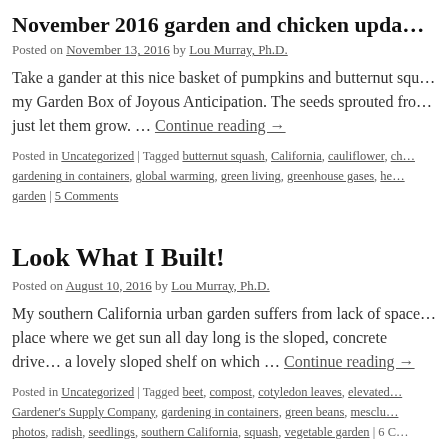November 2016 garden and chicken upda…
Posted on November 13, 2016 by Lou Murray, Ph.D.
Take a gander at this nice basket of pumpkins and butternut squ… my Garden Box of Joyous Anticipation. The seeds sprouted fro… just let them grow. … Continue reading →
Posted in Uncategorized | Tagged butternut squash, California, cauliflower, ch… gardening in containers, global warming, green living, greenhouse gases, he… garden | 5 Comments
Look What I Built!
Posted on August 10, 2016 by Lou Murray, Ph.D.
My southern California urban garden suffers from lack of space… place where we get sun all day long is the sloped, concrete drive… a lovely sloped shelf on which … Continue reading →
Posted in Uncategorized | Tagged beet, compost, cotyledon leaves, elevated… Gardener's Supply Company, gardening in containers, green beans, mesclu… photos, radish, seedlings, southern California, squash, vegetable garden | 6 C…